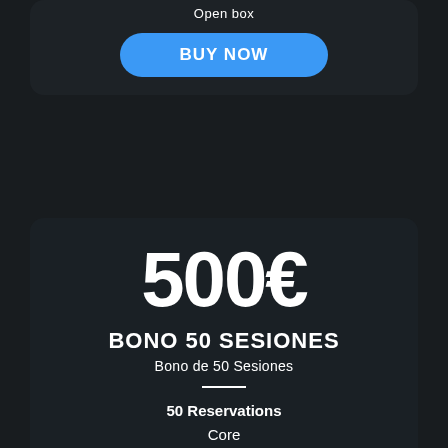Open box
BUY NOW
500€
BONO 50 SESIONES
Bono de 50 Sesiones
50 Reservations
Core
Crossfit
CrossFit Fundamentals
CrossFit.
Endurance